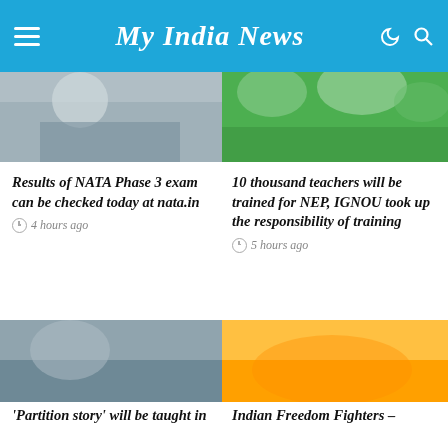My India News
[Figure (photo): Left: person writing or working, partial view. Right: outdoor green foliage scene.]
Results of NATA Phase 3 exam can be checked today at nata.in
4 hours ago
10 thousand teachers will be trained for NEP, IGNOU took up the responsibility of training
5 hours ago
[Figure (photo): Left: muted grey-blue image. Right: warm orange-yellow image.]
'Partition story' will be taught in
Indian Freedom Fighters –